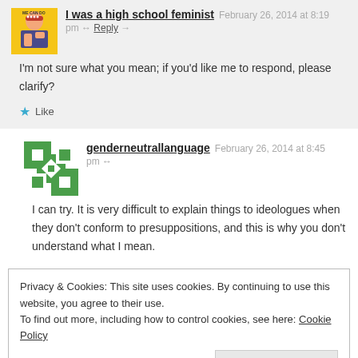I was a high school feminist · February 26, 2014 at 8:19 pm · Reply
I'm not sure what you mean; if you'd like me to respond, please clarify?
genderneutrallanguage · February 26, 2014 at 8:45 pm
I can try. It is very difficult to explain things to ideologues when they don't conform to presuppositions, and this is why you don't understand what I mean.
Privacy & Cookies: This site uses cookies. By continuing to use this website, you agree to their use. To find out more, including how to control cookies, see here: Cookie Policy
Close and accept
parent